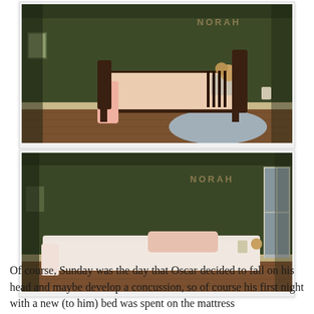[Figure (photo): Child's bedroom with olive green walls, a dark wood toddler bed with colorful bedding and a pink blanket draped over the side, hardwood floors, a round blue rug, and a wall light. The name 'NORAH' is written on the wall above the bed.]
[Figure (photo): Same olive green bedroom with the name 'NORAH' on the wall, but now showing a mattress on the floor instead of the toddler bed, with a pillow and white/pink bedding, and a window on the right side.]
Of course, Sunday was the day that Oscar decided to fall on his head and maybe develop a concussion, so of course his first night with a new (to him) bed was spent on the mattress